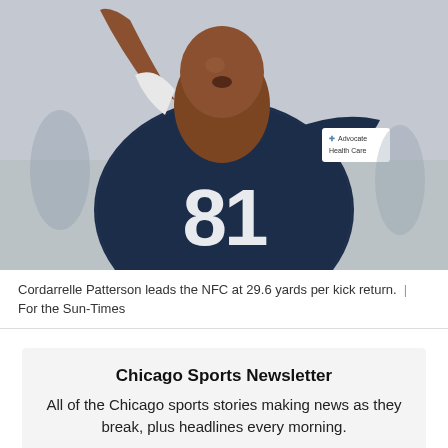[Figure (photo): A football player in a dark navy Chicago Bears jersey with number 81, arm raised, wearing an Advocate Health Care sponsor badge on the jersey. The player appears to be celebrating or gesturing during a practice or game.]
Cordarrelle Patterson leads the NFC at 29.6 yards per kick return.  |  For the Sun-Times
Chicago Sports Newsletter
All of the Chicago sports stories making news as they break, plus headlines every morning.